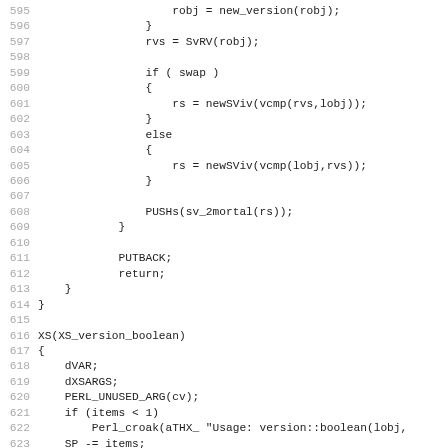Source code listing, lines 595–626, showing C/XS Perl extension code including version comparison and XS_version_boolean function.